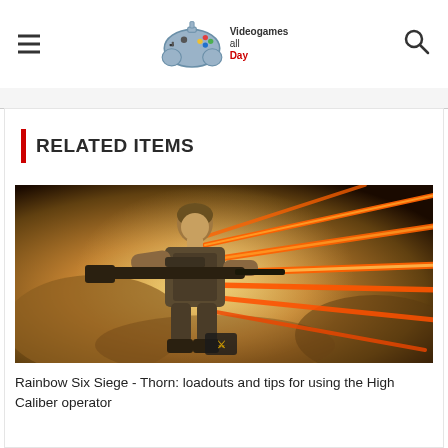Videogames all Day
RELATED ITEMS
[Figure (photo): Rainbow Six Siege Thorn operator artwork showing a soldier with a sniper rifle and orange bullet trails]
Rainbow Six Siege - Thorn: loadouts and tips for using the High Caliber operator